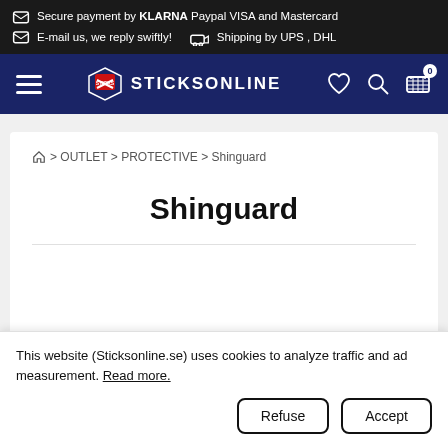Secure payment by KLARNA Paypal VISA and Mastercard
E-mail us, we reply swiftly!   Shipping by UPS , DHL
[Figure (logo): SticksonLine navigation bar with hamburger menu, logo, and nav icons (heart, search, cart with 0)]
🏠 > OUTLET > PROTECTIVE > Shinguard
Shinguard
This website (Sticksonline.se) uses cookies to analyze traffic and ad measurement. Read more.